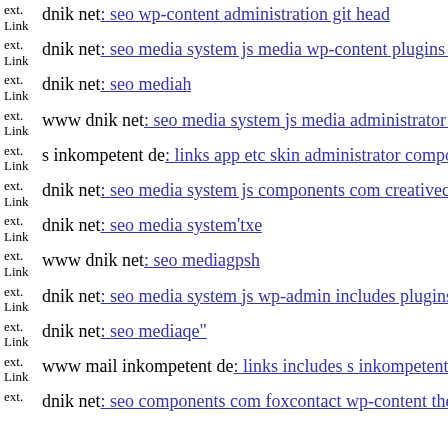ext. Link dnik net: seo wp-content administration git head
ext. Link dnik net: seo media system js media wp-content plugins contact
ext. Link dnik net: seo mediah
ext. Link www dnik net: seo media system js media administrator tmp co
ext. Link s inkompetent de: links app etc skin administrator components
ext. Link dnik net: seo media system js components com creativecontact
ext. Link dnik net: seo media system'txe
ext. Link www dnik net: seo mediagpsh
ext. Link dnik net: seo media system js wp-admin includes plugins conte
ext. Link dnik net: seo mediaqe"
ext. Link www mail inkompetent de: links includes s inkompetent de
ext. dnik net: seo components com foxcontact wp-content them...